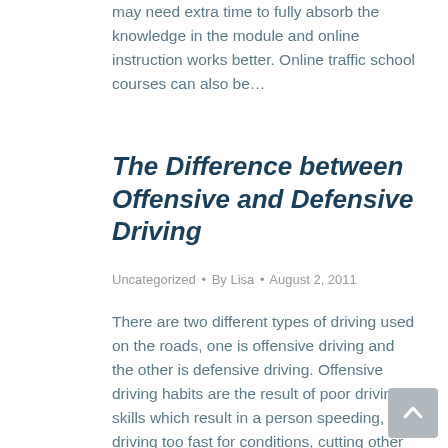may need extra time to fully absorb the knowledge in the module and online instruction works better. Online traffic school courses can also be…
The Difference between Offensive and Defensive Driving
Uncategorized • By Lisa • August 2, 2011
There are two different types of driving used on the roads, one is offensive driving and the other is defensive driving. Offensive driving habits are the result of poor driving skills which result in a person speeding, driving too fast for conditions, cutting other drivers off, improper lane changes and can lead to accidents. Driving…